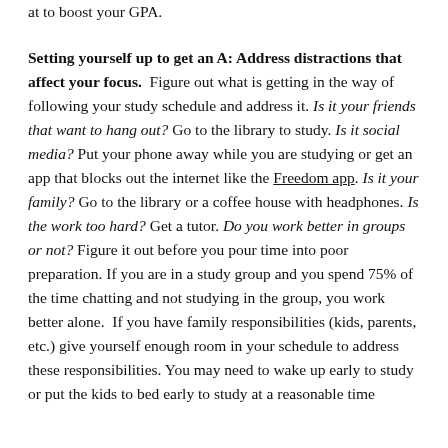at to boost your GPA.
Setting yourself up to get an A: Address distractions that affect your focus.
Figure out what is getting in the way of following your study schedule and address it. Is it your friends that want to hang out? Go to the library to study. Is it social media? Put your phone away while you are studying or get an app that blocks out the internet like the Freedom app. Is it your family? Go to the library or a coffee house with headphones. Is the work too hard? Get a tutor. Do you work better in groups or not? Figure it out before you pour time into poor preparation. If you are in a study group and you spend 75% of the time chatting and not studying in the group, you work better alone. If you have family responsibilities (kids, parents, etc.) give yourself enough room in your schedule to address these responsibilities. You may need to wake up early to study or put the kids to bed early to study at a reasonable time